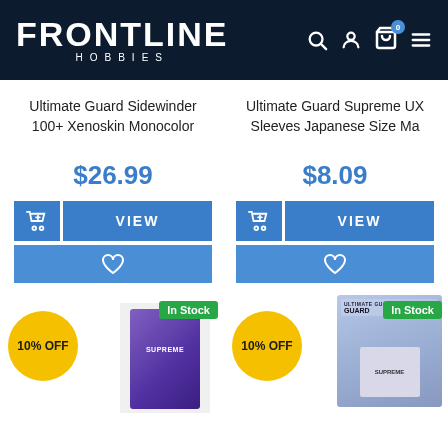FRONTLINE HOBBIES
Ultimate Guard Sidewinder 100+ Xenoskin Monocolor
Ultimate Guard Supreme UX Sleeves Japanese Size Ma
$26.99
$8.09
VIEW
VIEW
10% OFF
In Stock
10% OFF
In Stock